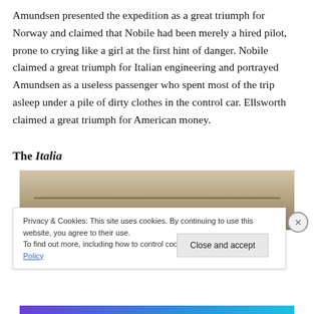Amundsen presented the expedition as a great triumph for Norway and claimed that Nobile had been merely a hired pilot, prone to crying like a girl at the first hint of danger. Nobile claimed a great triumph for Italian engineering and portrayed Amundsen as a useless passenger who spent most of the trip asleep under a pile of dirty clothes in the control car. Ellsworth claimed a great triumph for American money.
The Italia
[Figure (photo): Partial photograph of an airship, sepia-toned, showing the elongated body of the Italia airship against a light background.]
Privacy & Cookies: This site uses cookies. By continuing to use this website, you agree to their use.
To find out more, including how to control cookies, see here: Cookie Policy